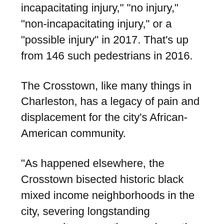"incapacitating injury," "no injury," "non-incapacitating injury," or a "possible injury" in 2017. That's up from 146 such pedestrians in 2016.
The Crosstown, like many things in Charleston, has a legacy of pain and displacement for the city's African-American community.
"As happened elsewhere, the Crosstown bisected historic black mixed income neighborhoods in the city, severing longstanding community connections and creating a highway too dangerous for pedestrians," according to a College of Charleston website commemorating Septima P. Clark, the Charleston-born civil rights and education activist.